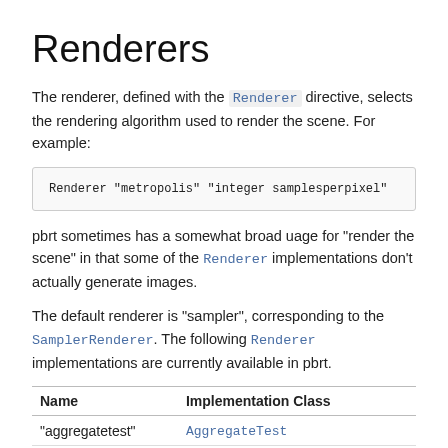Renderers
The renderer, defined with the Renderer directive, selects the rendering algorithm used to render the scene. For example:
Renderer "metropolis" "integer samplesperpixel"
pbrt sometimes has a somewhat broad uage for "render the scene" in that some of the Renderer implementations don't actually generate images.
The default renderer is "sampler", corresponding to the SamplerRenderer. The following Renderer implementations are currently available in pbrt.
| Name | Implementation Class |
| --- | --- |
| "aggregatetest" | AggregateTest |